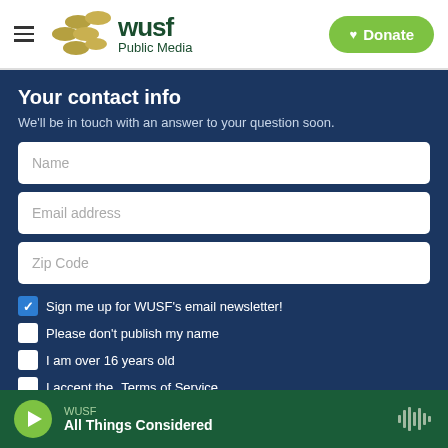[Figure (logo): WUSF Public Media logo with olive/gold dot pattern and dark green text, hamburger menu icon on left, green Donate button on right]
Your contact info
We'll be in touch with an answer to your question soon.
Name
Email address
Zip Code
Sign me up for WUSF's email newsletter! (checked)
Please don't publish my name
I am over 16 years old
I accept the Terms of Service
WUSF — All Things Considered (audio player)